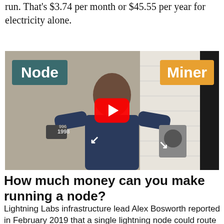the node alone costs $0.125 per day to run. That's $3.74 per month or $45.55 per year for electricity alone.
[Figure (screenshot): YouTube video thumbnail showing a man holding a Bitcoin node device and a mining device, with overlaid text labels 'Node' and 'Miner' and a YouTube play button in the center. Numbers '996' and '1998' visible on left side.]
How much money can you make running a node?
Lightning Labs infrastructure lead Alex Bosworth reported in February 2019 that a single lightning node could route $10,000...